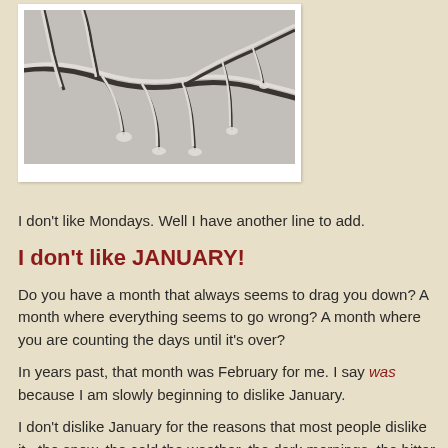[Figure (photo): Black and white photo of snow-covered tree branches drooping under heavy snow weight]
I don't like Mondays. Well I have another line to add.
I don't like JANUARY!
Do you have a month that always seems to drag you down? A month where everything seems to go wrong? A month where you are counting the days until it's over?
In years past, that month was February for me. I say was because I am slowly beginning to dislike January.
I don't dislike January for the reasons that most people dislike it...the snow, the cold the weather, the dark mornings, the bitter cold nights. I can deal with all of that. I love the